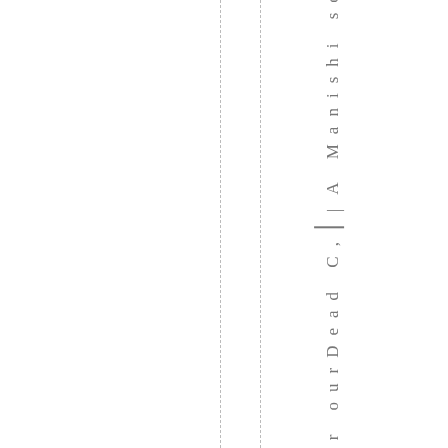kafter ourDead C, — A Manishi sownt